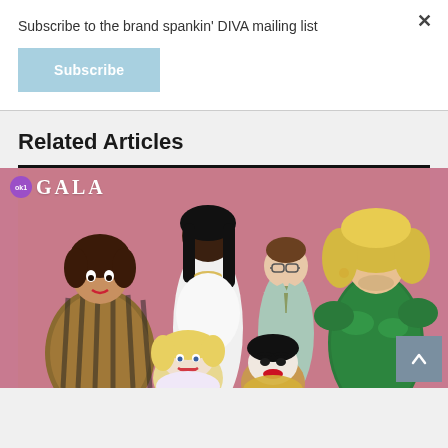Subscribe to the brand spankin' DIVA mailing list
×
Subscribe
Related Articles
[Figure (photo): Group photo of drag performers and artists at a gala event with pink background, featuring the OK1 Gala logo. Six people posing together including performers in elaborate costumes and makeup.]